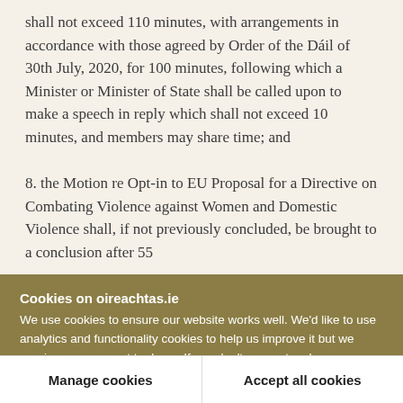shall not exceed 110 minutes, with arrangements in accordance with those agreed by Order of the Dáil of 30th July, 2020, for 100 minutes, following which a Minister or Minister of State shall be called upon to make a speech in reply which shall not exceed 10 minutes, and members may share time; and
8. the Motion re Opt-in to EU Proposal for a Directive on Combating Violence against Women and Domestic Violence shall, if not previously concluded, be brought to a conclusion after 55
Cookies on oireachtas.ie
We use cookies to ensure our website works well. We'd like to use analytics and functionality cookies to help us improve it but we require your consent to do so. If you don't consent, only necessary cookies will be used. Read more about our cookies
Manage cookies
Accept all cookies